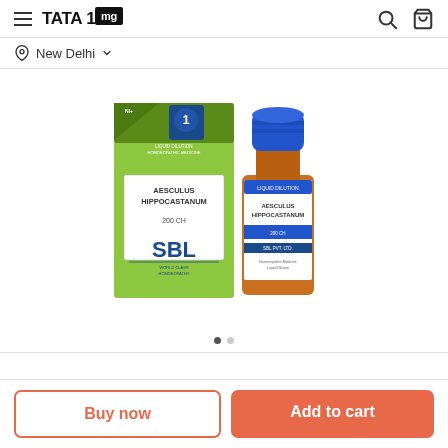TATA 1mg
New Delhi
[Figure (photo): SBL Aesculus Hippocastanum 200 CH homeopathic liquid dilution product photo showing green box and amber glass dropper bottle with blue cap]
Buy now
Add to cart